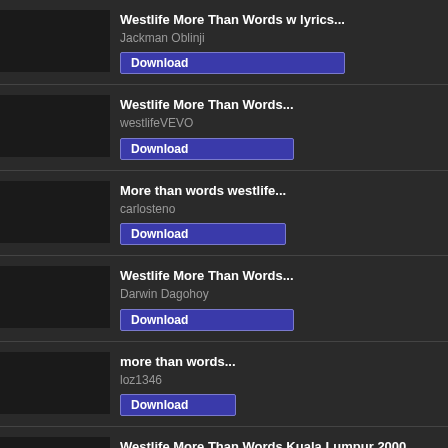Westlife More Than Words w lyrics...
Jackman Oblinji
Download
Westlife More Than Words...
westlifeVEVO
Download
More than words westlife...
carlosteno
Download
Westlife More Than Words...
Darwin Dagohoy
Download
more than words...
loz1346
Download
Westlife More Than Words Kuala Lumpur 2000...
Nicky Byrne Online
Download
More Than Words Westlife Lyrics...
Lil Souls
Download